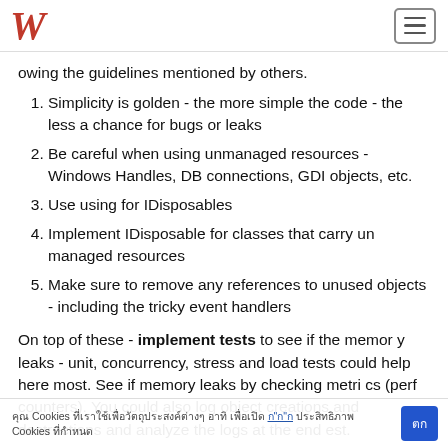W
owing the guidelines mentioned by others.
Simplicity is golden - the more simple the code - the less a chance for bugs or leaks
Be careful when using unmanaged resources - Windows Handles, DB connections, GDI objects, etc.
Use using for IDisposables
Implement IDisposable for classes that carry un managed resources
Make sure to remove any references to unused objects - including the tricky event handlers
On top of these - implement tests to see if the memory leaks - unit, concurrency, stress and load tests could help here most. See if memory leaks by checking metrics (perf counters). You could also log object creations and destructions and analyze the logs at the end est.
คุณ Cookies ที่เราใช้เพื่อวัตถุประสงค์ต่างๆ อาทิ เพื่อเปิด ก"ก"ก ประสิทธิภาพ Cookies ที่กำหนด